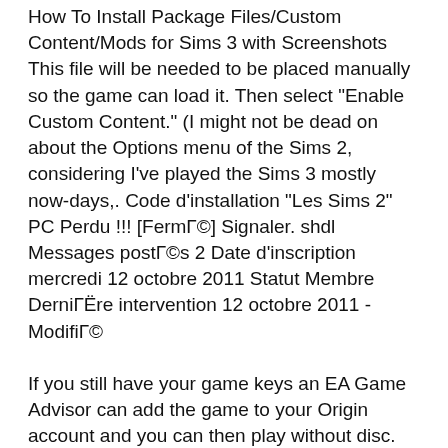How To Install Package Files/Custom Content/Mods for Sims 3 with Screenshots This file will be needed to be placed manually so the game can load it. Then select "Enable Custom Content." (I might not be dead on about the Options menu of the Sims 2, considering I've played the Sims 3 mostly now-days,. Code d'installation "Les Sims 2" PC Perdu !!! [FermГ©] Signaler. shdl Messages postГ©s 2 Date d'inscription mercredi 12 octobre 2011 Statut Membre DerniГЁre intervention 12 octobre 2011 - ModifiГ©
If you still have your game keys an EA Game Advisor can add the game to your Origin account and you can then play without disc. As Sims 2 is